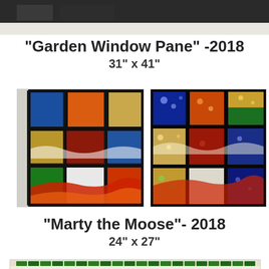[Figure (photo): Top portion of a dark framed stained glass artwork, partially visible at the top of the page]
"Garden Window Pane" -2018
31" x 41"
[Figure (photo): Left photo of a stained glass window pane with colorful glass panels in blue, orange, green, gold, red, and white with wave patterns, framed in black, viewed in daylight]
[Figure (photo): Right photo of the same stained glass window pane illuminated with lights behind, showing blue, orange, green, gold, red, and white panels glowing]
"Marty the Moose"- 2018
24" x 27"
[Figure (photo): Bottom partial photo showing a mosaic artwork with green tiles border and yellow/golden tulip or leaf shapes on a light background]